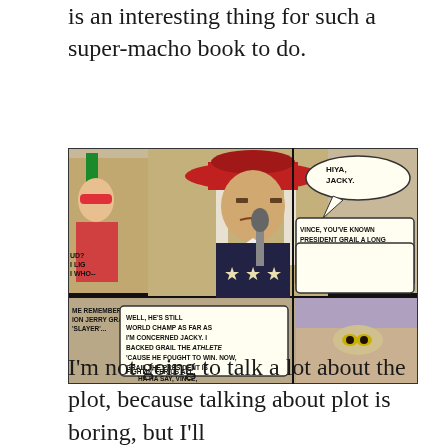is an interesting thing for such a super-macho book to do.
[Figure (photo): A comic book panel showing characters including a person wearing a red hat and a suit with stars, and another character with long white/silver hair. Speech bubbles contain dialogue including 'HIYA, JACKY', 'VINCE, YOU'VE KNOWN PRESIDENT GRAIL A LONG TIME, HAVEN'T YOU?', and other text about wrestling and politics.]
I'm not going to talk a lot about the plot, because talking about plot is boring, but I'll